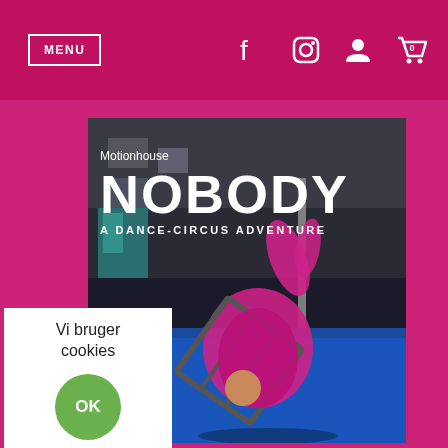MENU
[Figure (screenshot): Website screenshot showing a navigation bar with MENU button and social media icons (Facebook, Instagram, user, shopping cart with 0), and a promotional poster for Motionhouse NOBODY - A DANCE-CIRCUS ADVENTURE showing a performer in pink costume balancing on a metal frame structure against a blue floor background]
Vi bruger cookies
OK
Reje
Læs mere